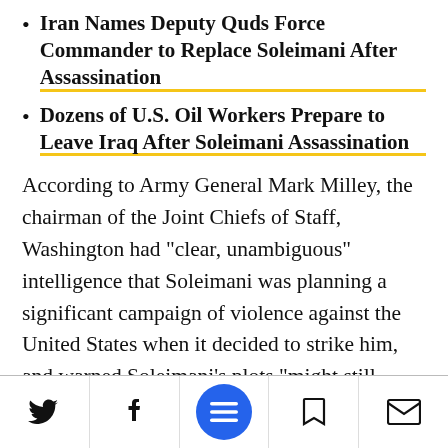Iran Names Deputy Quds Force Commander to Replace Soleimani After Assassination
Dozens of U.S. Oil Workers Prepare to Leave Iraq After Soleimani Assassination
According to Army General Mark Milley, the chairman of the Joint Chiefs of Staff, Washington had "clear, unambiguous" intelligence that Soleimani was planning a significant campaign of violence against the United States when it decided to strike him, and warned Soleimani's plots "might still happen."
Twitter, Facebook, Menu, Bookmark, Email icons